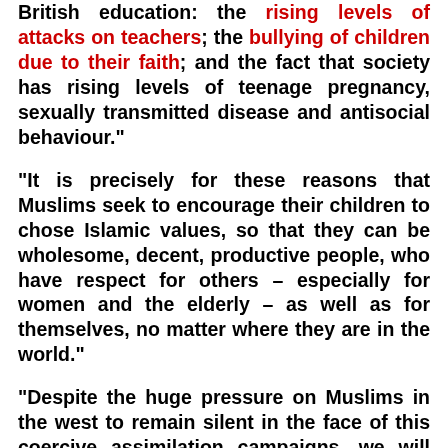British education: the rising levels of attacks on teachers; the bullying of children due to their faith; and the fact that society has rising levels of teenage pregnancy, sexually transmitted disease and antisocial behaviour."
"It is precisely for these reasons that Muslims seek to encourage their children to chose Islamic values, so that they can be wholesome, decent, productive people, who have respect for others – especially for women and the elderly – as well as for themselves, no matter where they are in the world."
"Despite the huge pressure on Muslims in the west to remain silent in the face of this coercive assimilation campaigns, we will continue to expose such liberal totalitarianism